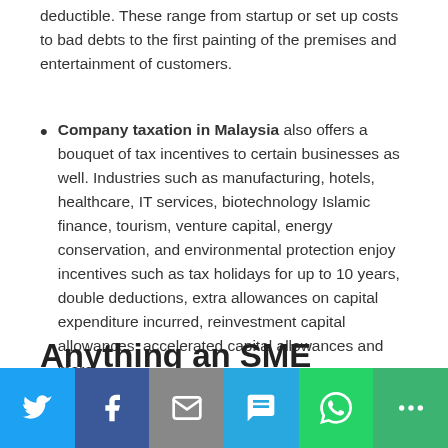deductible. These range from startup or set up costs to bad debts to the first painting of the premises and entertainment of customers.
Company taxation in Malaysia also offers a bouquet of tax incentives to certain businesses as well. Industries such as manufacturing, hotels, healthcare, IT services, biotechnology Islamic finance, tourism, venture capital, energy conservation, and environmental protection enjoy incentives such as tax holidays for up to 10 years, double deductions, extra allowances on capital expenditure incurred, reinvestment capital allowances, accelerated capital allowances and more.
Anything an SME should know that is different